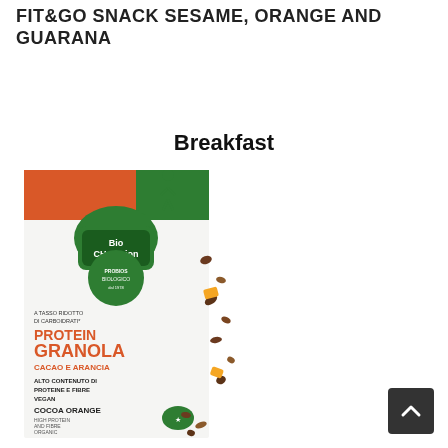FIT&GO SNACK SESAME, ORANGE AND GUARANA
Breakfast
[Figure (photo): Product packaging for Bio Champion Protein Granola Cacao e Arancia (Cocoa Orange) by Probios Biologico. Orange and green box design with granola scattered around. Text on box includes: A TASSO RIDOTTO DI CARBOIDRATI, PROTEIN GRANOLA, CACAO E ARANCIA, ALTO CONTENUTO DI PROTEINE E FIBRE, VEGAN, COCOA ORANGE, HIGH PROTEIN AND FIBRE, ORGANIC, Bio organic logo]
[Figure (other): Back to top navigation button (dark grey square with upward chevron arrow)]